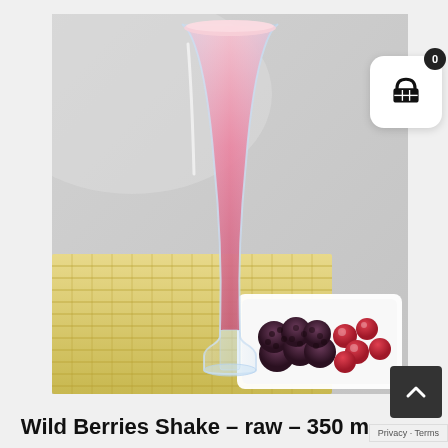[Figure (photo): A glass of pink wild berries smoothie/shake on a bamboo mat, with a white dish of mixed dark berries and cranberries in the foreground right. Light grey background.]
Wild Berries Shake – raw – 350 m